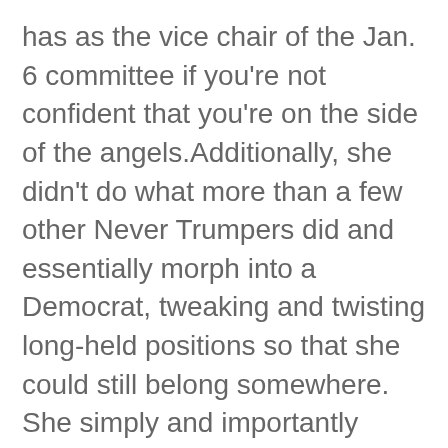has as the vice chair of the Jan. 6 committee if you're not confident that you're on the side of the angels.Additionally, she didn't do what more than a few other Never Trumpers did and essentially morph into a Democrat, tweaking and twisting long-held positions so that she could still belong somewhere. She simply and importantly made cause with Democrats, which didn't erase her past, had greater authenticity and was enough.I was sad and angry when she celebrated the Supreme Court's decision to overturn Roe v. Wade, because I think she's wrong: An embryo doesn't take precedence over a woman, who should not have to become a fugitive from her state